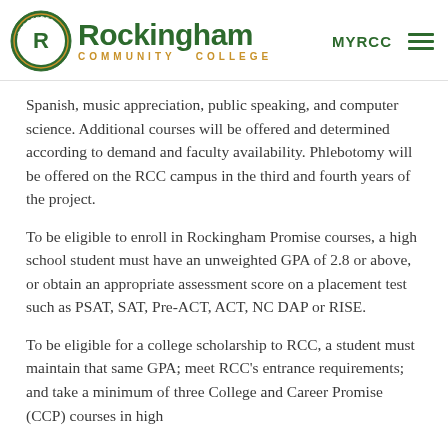[Figure (logo): Rockingham Community College logo with circular seal on left and college name text on right, with MYRCC and hamburger menu navigation on the far right]
Spanish, music appreciation, public speaking, and computer science. Additional courses will be offered and determined according to demand and faculty availability. Phlebotomy will be offered on the RCC campus in the third and fourth years of the project.
To be eligible to enroll in Rockingham Promise courses, a high school student must have an unweighted GPA of 2.8 or above, or obtain an appropriate assessment score on a placement test such as PSAT, SAT, Pre-ACT, ACT, NC DAP or RISE.
To be eligible for a college scholarship to RCC, a student must maintain that same GPA; meet RCC’s entrance requirements; and take a minimum of three College and Career Promise (CCP) courses in high